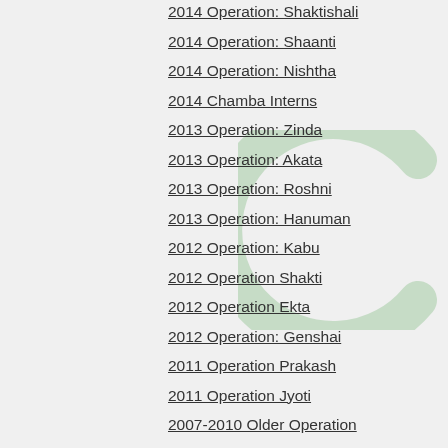2014 Operation: Shaktishali
2014 Operation: Shaanti
2014 Operation: Nishtha
2014 Chamba Interns
2013 Operation: Zinda
2013 Operation: Akata
2013 Operation: Roshni
2013 Operation: Hanuman
2012 Operation: Kabu
2012 Operation Shakti
2012 Operation Ekta
2012 Operation: Genshai
2011 Operation Prakash
2011 Operation Jyoti
2007-2010 Older Operation
House of Learning
Uncategorized